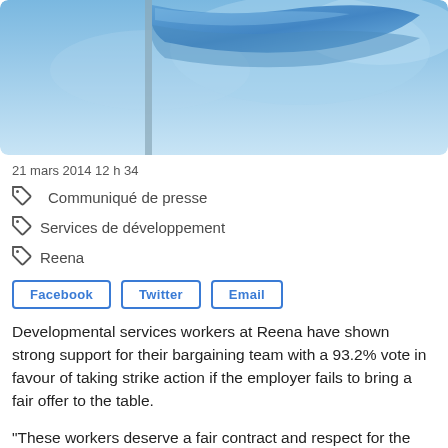[Figure (photo): Blue flag waving against a blue sky background]
21 mars 2014 12 h 34
Communiqué de presse
Services de développement
Reena
Facebook  Twitter  Email
Developmental services workers at Reena have shown strong support for their bargaining team with a 93.2% vote in favour of taking strike action if the employer fails to bring a fair offer to the table.
"These workers deserve a fair contract and respect for the important services they provide for some of the most vulnerable members of our community," said OPSEU President Warren (Smokey) Thomas. "Workers